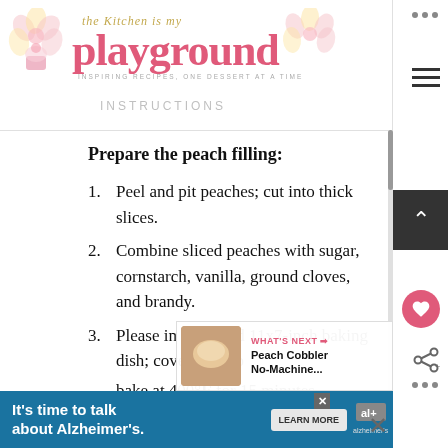the Kitchen is my playground — INSTRUCTIONS
Prepare the peach filling:
1. Peel and pit peaches; cut into thick slices.
2. Combine sliced peaches with sugar, cornstarch, vanilla, ground cloves, and brandy.
3. Please in a greased 11x7-inch baking dish; cover with foil; bake at 400°F for 15 minutes